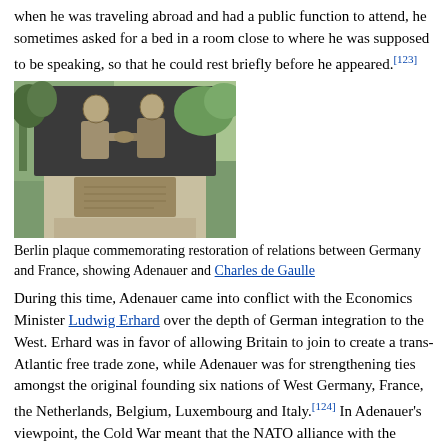when he was traveling abroad and had a public function to attend, he sometimes asked for a bed in a room close to where he was supposed to be speaking, so that he could rest briefly before he appeared.[123]
[Figure (photo): Berlin plaque relief sculpture showing two men shaking hands, commemorating restoration of relations between Germany and France, depicting Adenauer and Charles de Gaulle. Bronze relief mounted on a stone monument in a park setting.]
Berlin plaque commemorating restoration of relations between Germany and France, showing Adenauer and Charles de Gaulle
During this time, Adenauer came into conflict with the Economics Minister Ludwig Erhard over the depth of German integration to the West. Erhard was in favor of allowing Britain to join to create a trans-Atlantic free trade zone, while Adenauer was for strengthening ties amongst the original founding six nations of West Germany, France, the Netherlands, Belgium, Luxembourg and Italy.[124] In Adenauer's viewpoint, the Cold War meant that the NATO alliance with the United States and Britain...